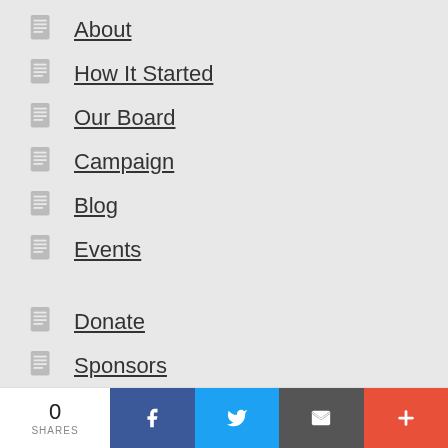About
How It Started
Our Board
Campaign
Blog
Events
Donate
Sponsors
Swag
0 SHARES